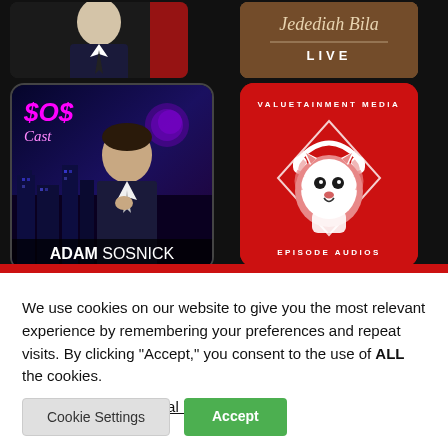[Figure (screenshot): Screenshot of a podcast/media app showing podcast artwork tiles: SOS Cast with Adam Sosnick (neon city background), Jedediah Bila LIVE, and Valuetainment Media Episode Audios (red card with lion wearing headphones logo).]
We use cookies on our website to give you the most relevant experience by remembering your preferences and repeat visits. By clicking "Accept," you consent to the use of ALL the cookies.
Do not sell my personal information.
Cookie Settings
Accept